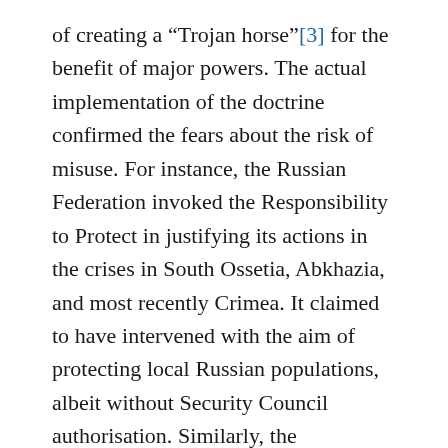of creating a “Trojan horse”[3] for the benefit of major powers. The actual implementation of the doctrine confirmed the fears about the risk of misuse. For instance, the Russian Federation invoked the Responsibility to Protect in justifying its actions in the crises in South Ossetia, Abkhazia, and most recently Crimea. It claimed to have intervened with the aim of protecting local Russian populations, albeit without Security Council authorisation. Similarly, the intervention of NATO forces, acting pursuant to Resolution 1973/2011, in Libya was also criticized extending the scope of the military operation beyond the limited mandate to protect the civilian population. Indeed, several non-permanent members of the UN Security Council protested against the misuse of this doctrine and urged NATO